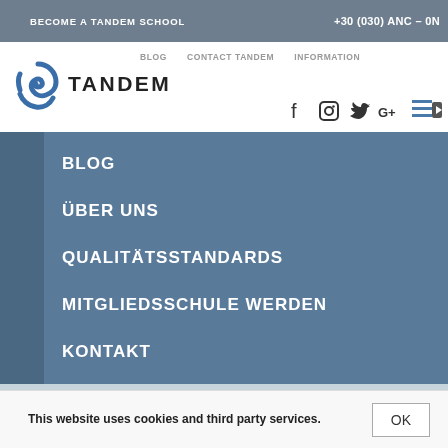BECOME A TANDEM SCHOOL
[Figure (logo): Tandem school logo with blue spiral graphic and TANDEM wordmark]
BLOG
ÜBER UNS
QUALITÄTSSTANDARDS
MITGLIEDSSCHULE WERDEN
KONTAKT
This website uses cookies and third party services.